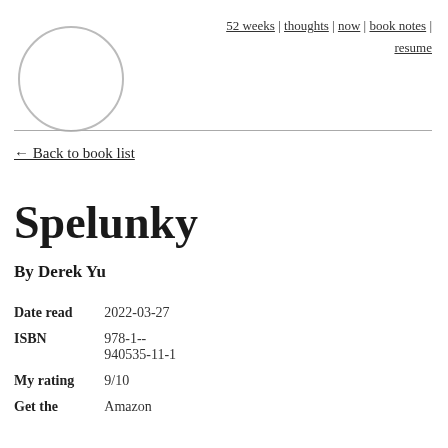52 weeks | thoughts | now | book notes | resume
[Figure (illustration): A light gray circle outline, used as a logo placeholder in the top left of the page header.]
← Back to book list
Spelunky
By Derek Yu
| Date read | 2022-03-27 |
| ISBN | 978-1--940535-11-1 |
| My rating | 9/10 |
| Get the | Amazon |